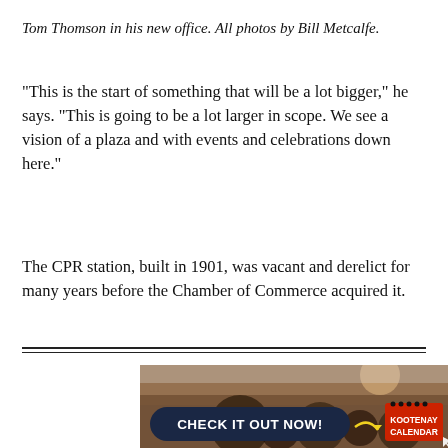Tom Thomson in his new office. All photos by Bill Metcalfe.
“This is the start of something that will be a lot bigger,” he says. “This is going to be a lot larger in scope. We see a vision of a plaza and with events and celebrations down here.”
The CPR station, built in 1901, was vacant and derelict for many years before the Chamber of Commerce acquired it.
[Figure (screenshot): Advertisement banner: CHECK IT OUT NOW! KOOTENAY CALENDAR, with crowd/concert background image. Dark navy button with white text on left, red calendar graphic on right, with a scroll-to-top button (dark circle with up arrow) overlaid on the right side.]